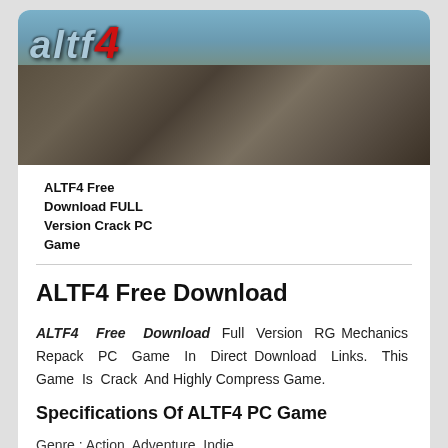[Figure (photo): ALTF4 game banner image showing rocky terrain and game logo with stylized text 'altf4' and a red '4', set against a sky background with rugged cliffs.]
ALTF4 Free Download FULL Version Crack PC Game
ALTF4 Free Download
ALTF4 Free Download Full Version RG Mechanics Repack PC Game In Direct Download Links. This Game Is Crack And Highly Compress Game.
Specifications Of ALTF4 PC Game
Genre : Action, Adventure, Indie
Platform : PC